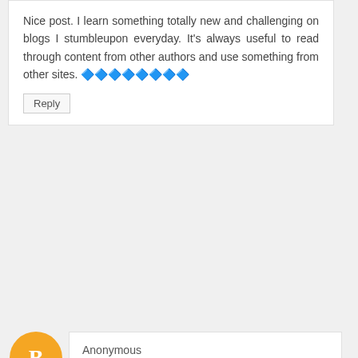Nice post. I learn something totally new and challenging on blogs I stumbleupon everyday. It's always useful to read through content from other authors and use something from other sites. 🔷🔷🔷🔷🔷🔷🔷🔷
Reply
Anonymous
I have checked this link this is really important for the people to get benefit from. click here
Reply
Majortotosite Pro
Thank you for the good writeup. It in fact was a amusement account it. Look advanced to more added agreeable from you! 🔷🔷